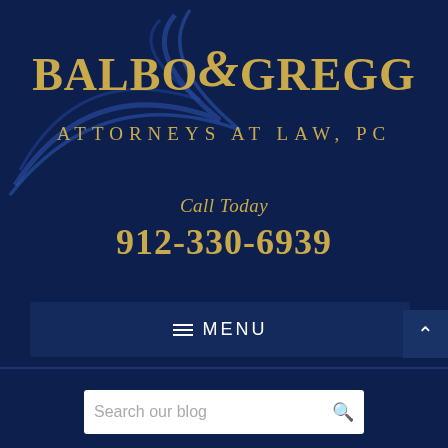[Figure (logo): Balbo & Gregg Attorneys at Law, PC law firm logo with gold serif text and blue swoosh/arc graphic on dark navy background]
Call Today
912-330-6939
≡ MENU
Search our blog